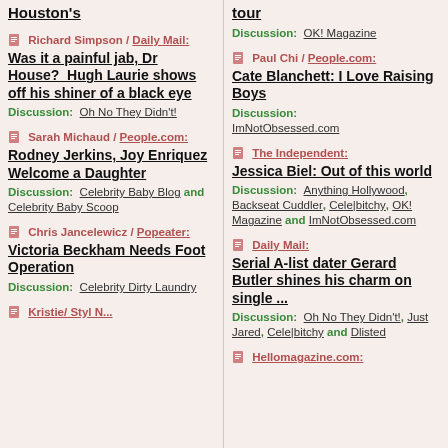Houston's
Richard Simpson / Daily Mail: Was it a painful jab, Dr House?  Hugh Laurie shows off his shiner of a black eye. Discussion: Oh No They Didn't!
Sarah Michaud / People.com: Rodney Jerkins, Joy Enriquez Welcome a Daughter. Discussion: Celebrity Baby Blog and Celebrity Baby Scoop
Chris Jancelewicz / Popeater: Victoria Beckham Needs Foot Operation. Discussion: Celebrity Dirty Laundry
Kristie / ...
tour. Discussion: OK! Magazine
Paul Chi / People.com: Cate Blanchett: I Love Raising Boys. Discussion: ImNotObsessed.com
The Independent: Jessica Biel: Out of this world. Discussion: Anything Hollywood, Backseat Cuddler, Cele|bitchy, OK! Magazine and ImNotObsessed.com
Daily Mail: Serial A-list dater Gerard Butler shines his charm on single ... Discussion: Oh No They Didn't!, Just Jared, Cele|bitchy and Dlisted
Hellomagazine.com: ...